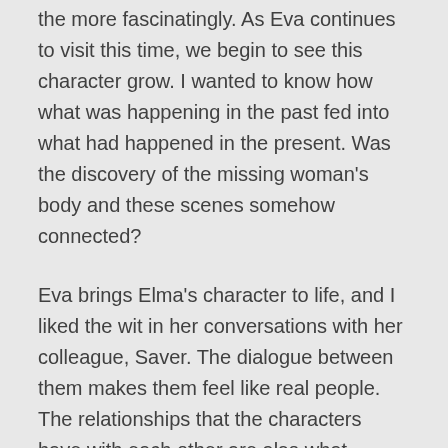the more fascinatingly. As Eva continues to visit this time, we begin to see this character grow. I wanted to know how what was happening in the past fed into what had happened in the present. Was the discovery of the missing woman's body and these scenes somehow connected?
Eva brings Elma's character to life, and I liked the wit in her conversations with her colleague, Saver. The dialogue between them makes them feel like real people. The relationships that the characters have with each other are also what makes this story really compelling. I'm sure I'll keep coming back to this series, excited to see what Eva Björg Ægisdottir has in store for us next.
If you love crime novels with a strong, fascinating setting that makes you feel as though you're there, then I highly